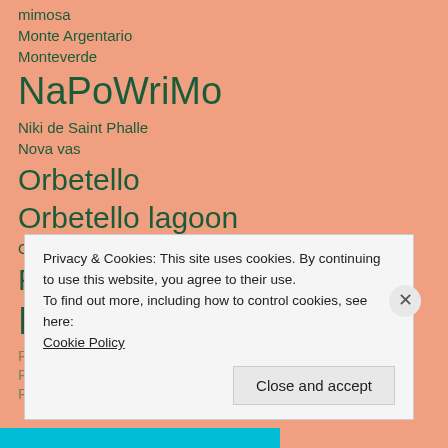mimosa
Monte Argentario
Monteverde
NaPoWriMo
Niki de Saint Phalle
Nova vas
Orbetello
Orbetello lagoon
Orvieto
Pic and a Word Challenge
Piran
Privacy & Cookies: This site uses cookies. By continuing to use this website, you agree to their use.
To find out more, including how to control cookies, see here:
Cookie Policy
Close and accept